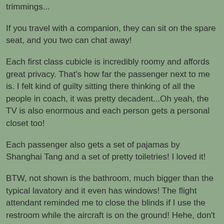trimmings...
If you travel with a companion, they can sit on the spare seat, and you two can chat away!
Each first class cubicle is incredibly roomy and affords great privacy. That's how far the passenger next to me is. I felt kind of guilty sitting there thinking of all the people in coach, it was pretty decadent...Oh yeah, the TV is also enormous and each person gets a personal closet too!
Each passenger also gets a set of pajamas by Shanghai Tang and a set of pretty toiletries! I loved it!
BTW, not shown is the bathroom, much bigger than the typical lavatory and it even has windows! The flight attendant reminded me to close the blinds if I use the restroom while the aircraft is on the ground! Hehe, don't want to get arrested for mooning passengers on other airplanes :-P
Cat